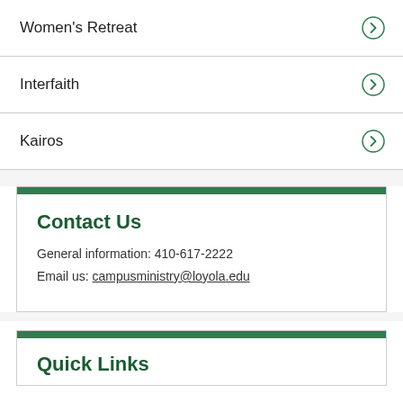Women's Retreat
Interfaith
Kairos
Contact Us
General information: 410-617-2222
Email us: campusministry@loyola.edu
Quick Links